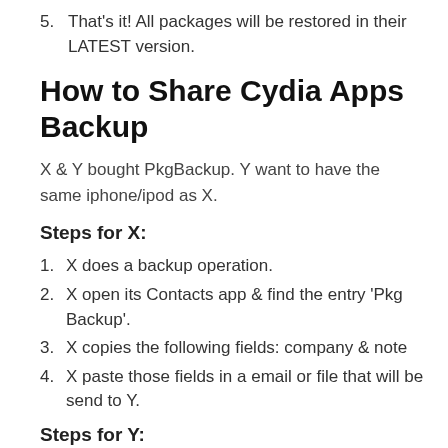5. That's it! All packages will be restored in their LATEST version.
How to Share Cydia Apps Backup
X & Y bought PkgBackup. Y want to have the same iphone/ipod as X.
Steps for X:
1. X does a backup operation.
2. X open its Contacts app & find the entry 'Pkg Backup'.
3. X copies the following fields: company & note
4. X paste those fields in a email or file that will be send to Y.
Steps for Y:
1. Y create an entry in Contacts app with: